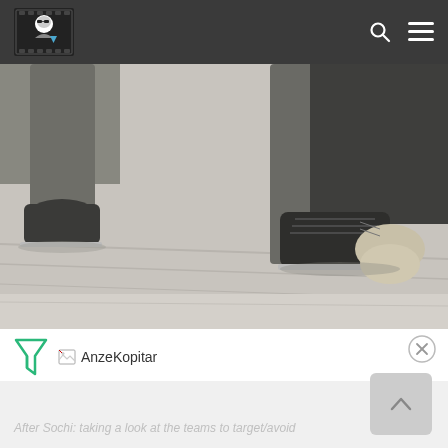Navigation bar with site logo, search icon, and menu icon
[Figure (photo): Close-up photo of ice hockey skates on ice, showing dark skate boots and blades on a light-colored ice surface with rink lines visible]
[Figure (logo): Small image placeholder labeled AnzeKopitar with broken image icon]
AnzeKopitar
After Sochi: taking a look at the teams to target/avoid